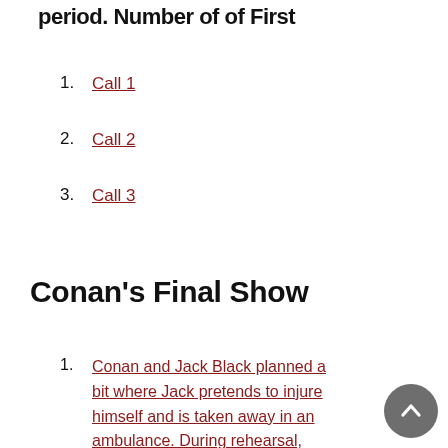period. Number of of First
Call 1
Call 2
Call 3
Conan's Final Show
Conan and Jack Black planned a bit where Jack pretends to injure himself and is taken away in an ambulance. During rehearsal, Jack actually injured himself real.